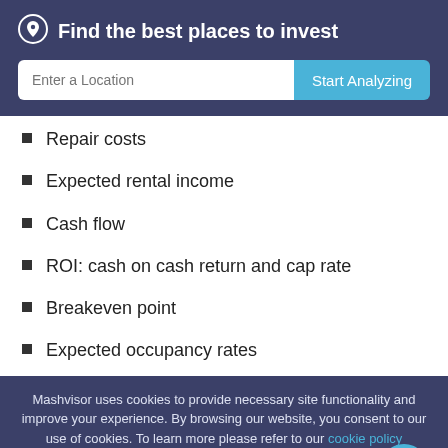Find the best places to invest
Repair costs
Expected rental income
Cash flow
ROI: cash on cash return and cap rate
Breakeven point
Expected occupancy rates
Mashvisor uses cookies to provide necessary site functionality and improve your experience. By browsing our website, you consent to our use of cookies. To learn more please refer to our cookie policy